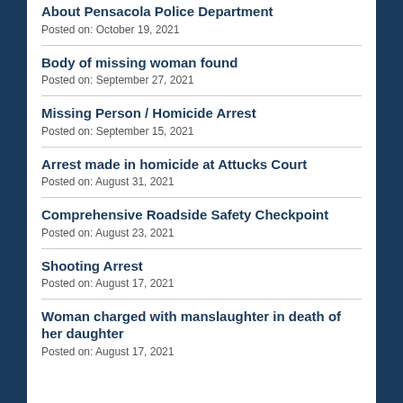About Pensacola Police Department
Posted on: October 19, 2021
Body of missing woman found
Posted on: September 27, 2021
Missing Person / Homicide Arrest
Posted on: September 15, 2021
Arrest made in homicide at Attucks Court
Posted on: August 31, 2021
Comprehensive Roadside Safety Checkpoint
Posted on: August 23, 2021
Shooting Arrest
Posted on: August 17, 2021
Woman charged with manslaughter in death of her daughter
Posted on: August 17, 2021